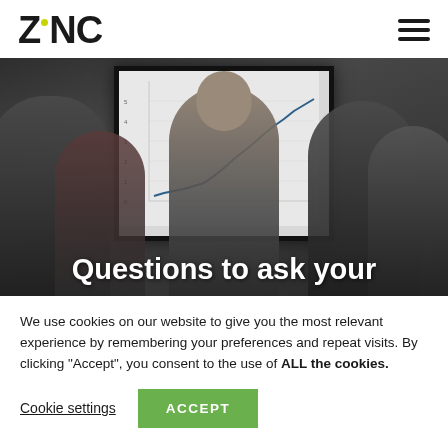Zinc logo and navigation menu
[Figure (photo): Group of people in a meeting room looking at a screen showing a line chart. Text overlay reads 'Questions to ask your'.]
We use cookies on our website to give you the most relevant experience by remembering your preferences and repeat visits. By clicking “Accept”, you consent to the use of ALL the cookies.
Cookie settings
ACCEPT